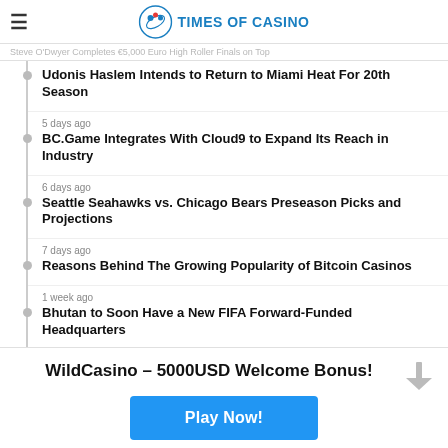TIMES OF CASINO
Steve O'Dwyer Completes €5,000 Euro High Roller Finals on Top
Udonis Haslem Intends to Return to Miami Heat For 20th Season
5 days ago
BC.Game Integrates With Cloud9 to Expand Its Reach in Industry
6 days ago
Seattle Seahawks vs. Chicago Bears Preseason Picks and Projections
7 days ago
Reasons Behind The Growing Popularity of Bitcoin Casinos
1 week ago
Bhutan to Soon Have a New FIFA Forward-Funded Headquarters
WildCasino – 5000USD Welcome Bonus!
Play Now!